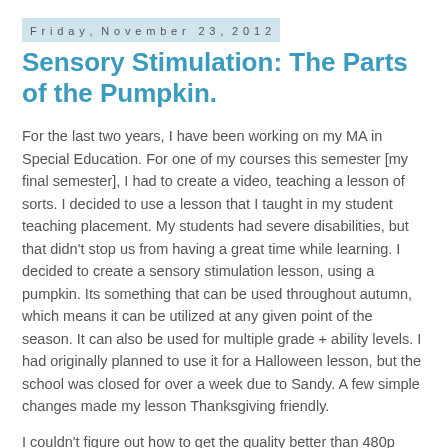Friday, November 23, 2012
Sensory Stimulation: The Parts of the Pumpkin.
For the last two years, I have been working on my MA in Special Education. For one of my courses this semester [my final semester], I had to create a video, teaching a lesson of sorts. I decided to use a lesson that I taught in my student teaching placement. My students had severe disabilities, but that didn't stop us from having a great time while learning. I decided to create a sensory stimulation lesson, using a pumpkin. Its something that can be used throughout autumn, which means it can be utilized at any given point of the season. It can also be used for multiple grade + ability levels. I had originally planned to use it for a Halloween lesson, but the school was closed for over a week due to Sandy. A few simple changes made my lesson Thanksgiving friendly.
I couldn't figure out how to get the quality better than 480p